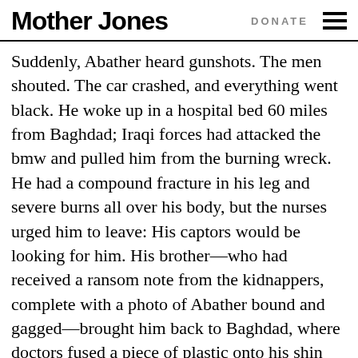Mother Jones | DONATE
Suddenly, Abather heard gunshots. The men shouted. The car crashed, and everything went black. He woke up in a hospital bed 60 miles from Baghdad; Iraqi forces had attacked the bmw and pulled him from the burning wreck. He had a compound fracture in his leg and severe burns all over his body, but the nurses urged him to leave: His captors would be looking for him. His brother—who had received a ransom note from the kidnappers, complete with a photo of Abather bound and gagged—brought him back to Baghdad, where doctors fused a piece of plastic onto his shin and grafted skin from his thighs over his wounds. A few weeks later, he was back at the Jordanian border,